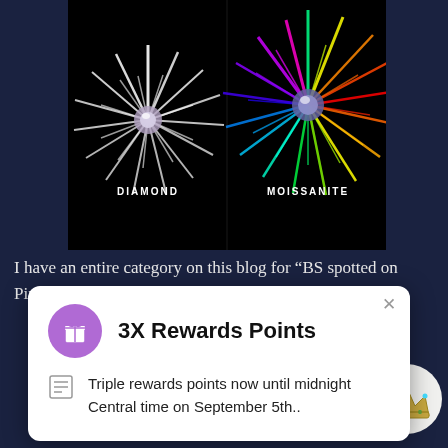[Figure (photo): Side-by-side comparison photo of diamond vs moissanite light refraction on black background. Left side labeled DIAMOND shows white starburst pattern. Right side labeled MOISSANITE shows colorful rainbow starburst pattern.]
I have an entire category on this blog for “BS spotted on Pinterest,”
[Figure (infographic): Popup notification card with purple gift icon circle, title '3X Rewards Points', and body text 'Triple rewards points now until midnight Central time on September 5th..' with a list/table icon. Close button X in top right corner.]
Altar & Light Setting Services
Big Lucky Hoodoo
FAQ
[Figure (illustration): Crown illustration inside a white circle at bottom right corner of page.]